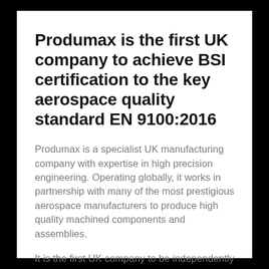Produmax is the first UK company to achieve BSI certification to the key aerospace quality standard EN 9100:2016
Produmax is a specialist UK manufacturing company with expertise in high precision engineering. Operating globally, it works in partnership with many of the most prestigious aerospace manufacturers to produce high quality machined components and assemblies.
It is the first UK company to be independently assessed by BSI to achieve certification to EN 9100:2016 Quality Management Systems –